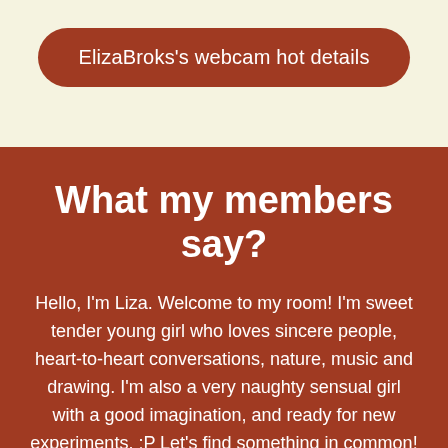ElizaBroks's webcam hot details
What my members say?
Hello, I'm Liza. Welcome to my room! I'm sweet tender young girl who loves sincere people, heart-to-heart conversations, nature, music and drawing. I'm also a very naughty sensual girl with a good imagination, and ready for new experiments. :P Let's find something in common! Share everything on your mind with me, enjoy my company and maybe we will be very close to each other? ♥ Instant sex show on Wiccan Chat. My